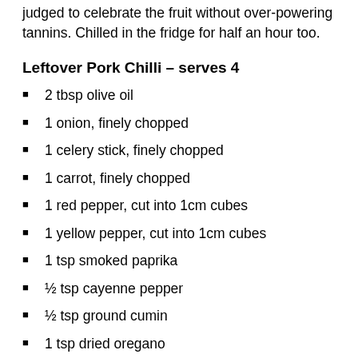judged to celebrate the fruit without over-powering tannins. Chilled in the fridge for half an hour too.
Leftover Pork Chilli – serves 4
2 tbsp olive oil
1 onion, finely chopped
1 celery stick, finely chopped
1 carrot, finely chopped
1 red pepper, cut into 1cm cubes
1 yellow pepper, cut into 1cm cubes
1 tsp smoked paprika
½ tsp cayenne pepper
½ tsp ground cumin
1 tsp dried oregano
400g tin chopped tomatoes
400ml beef stock
500g...